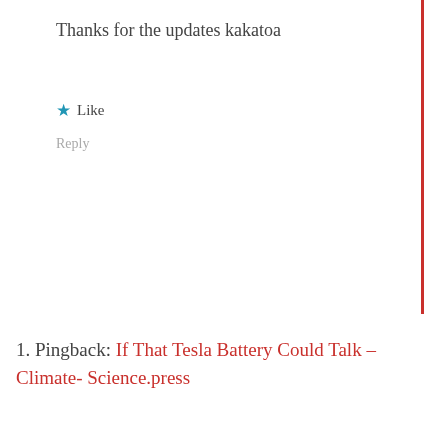Thanks for the updates kakatoa
★ Like
Reply
1. Pingback: If That Tesla Battery Could Talk – Climate- Science.press
[Figure (illustration): Small eagle/bird logo icon in dark grey]
HiFast · April 28
Reblogged this on Climate Collections